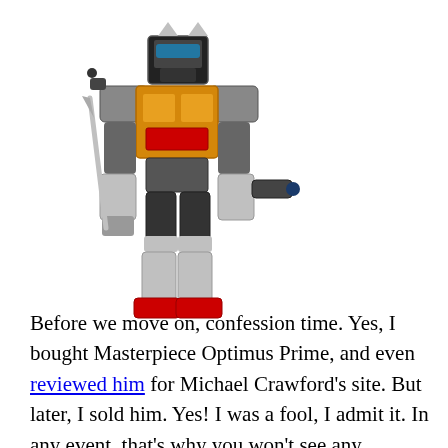[Figure (illustration): Illustration of a Transformers robot character (Grimlock in robot mode), rendered in a detailed cartoon style with gold, silver, black and red colors, holding a sword-like weapon.]
Before we move on, confession time. Yes, I bought Masterpiece Optimus Prime, and even reviewed him for Michael Crawford's site. But later, I sold him. Yes! I was a fool, I admit it. In any event, that's why you won't see any comparison photos with MP Op. However, it's notable that Grimlock is smaller than MP Optimus, despite generally being depicted as taller in the cartoon. This is most likely a result of having to keep his price in the realm of the not